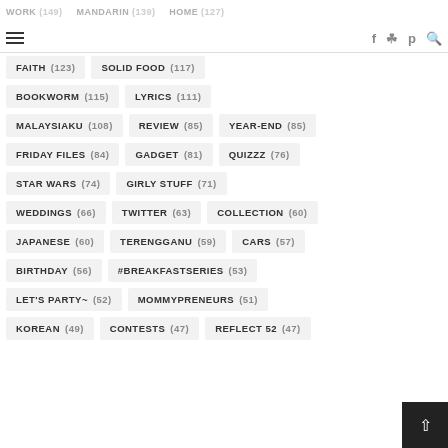WORK (149)  MANDARIN (139)  HOME (127)
FAITH (123)
SOLID FOOD (117)
BOOKWORM (115)
LYRICS (111)
MALAYSIAKU (108)
REVIEW (85)
YEAR-END (85)
FRIDAY FILES (84)
GADGET (81)
QUIZZZ (76)
STAR WARS (74)
GIRLY STUFF (71)
WEDDINGS (66)
TWITTER (63)
COLLECTION (60)
JAPANESE (60)
TERENGGANU (59)
CARS (57)
BIRTHDAY (56)
#BREAKFASTSERIES (53)
LET'S PARTY~ (52)
MOMMYPRENEURS (51)
KOREAN (49)
CONTESTS (47)
REFLECT 52 (47)